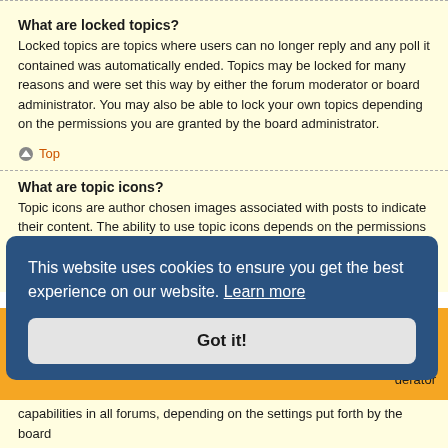What are locked topics?
Locked topics are topics where users can no longer reply and any poll it contained was automatically ended. Topics may be locked for many reasons and were set this way by either the forum moderator or board administrator. You may also be able to lock your own topics depending on the permissions you are granted by the board administrator.
↑ Top
What are topic icons?
Topic icons are author chosen images associated with posts to indicate their content. The ability to use topic icons depends on the permissions set by the board administrator.
↑ Top
This website uses cookies to ensure you get the best experience on our website. Learn more
Got it!
over the n, ssions he derator capabilities in all forums, depending on the settings put forth by the board